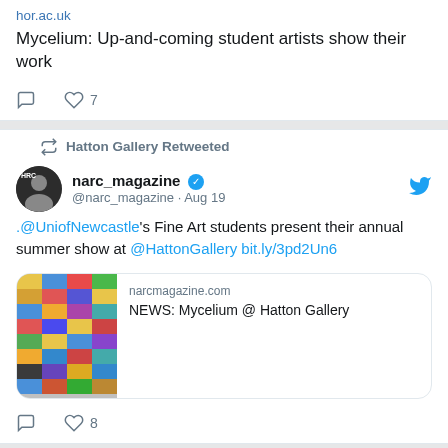hor.ac.uk
Mycelium: Up-and-coming student artists show their work
comment 0, like 7
Hatton Gallery Retweeted
narc_magazine @narc_magazine · Aug 19
.@UniofNewcastle's Fine Art students present their annual summer show at @HattonGallery bit.ly/3pd2Un6
[Figure (screenshot): Link card with colorful thumbnail grid image and text: narcmagazine.com NEWS: Mycelium @ Hatton Gallery]
comment 0, like 8
Hatton Gallery Retweeted